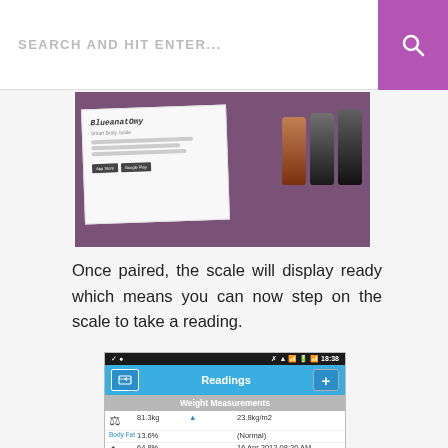SEARCH AND HIT ENTER...
[Figure (photo): Blueanatomy smart body scale instruction manual and three AA batteries on a purple fabric background]
Once paired, the scale will display ready which means you can now step on the scale to take a reading.
[Figure (screenshot): Smartphone app screenshot showing Readings screen with Weight Measurements: 81.3kg, 23.8kg/m2, Body Fat 13.6% (Normal), 64.8%, 16 Apr 2012 08:20 AM, 81.3kg, 23.8kg/m2]